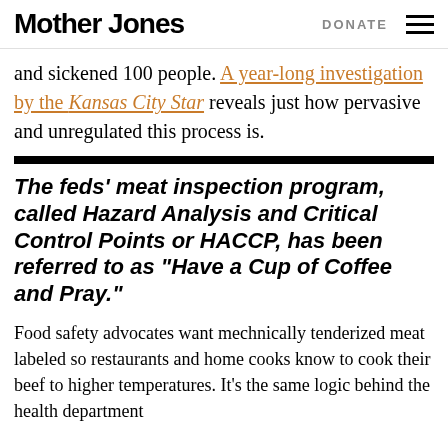Mother Jones | DONATE
and sickened 100 people. A year-long investigation by the Kansas City Star reveals just how pervasive and unregulated this process is.
The feds' meat inspection program, called Hazard Analysis and Critical Control Points or HACCP, has been referred to as "Have a Cup of Coffee and Pray."
Food safety advocates want mechnically tenderized meat labeled so restaurants and home cooks know to cook their beef to higher temperatures. It's the same logic behind the health department